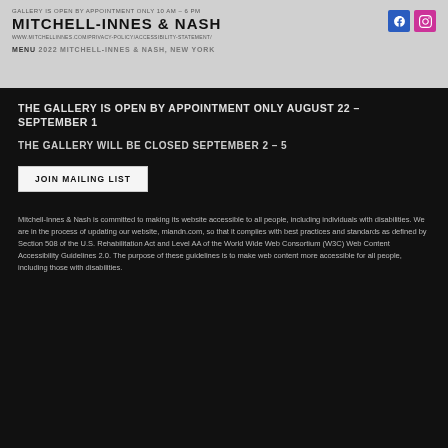MITCHELL-INNES & NASH
MENU 2022 MITCHELL-INNES & NASH, NEW YORK
THE GALLERY IS OPEN BY APPOINTMENT ONLY AUGUST 22 – SEPTEMBER 1
THE GALLERY WILL BE CLOSED SEPTEMBER 2 – 5
JOIN MAILING LIST
Mitchell-Innes & Nash is committed to making its website accessible to all people, including individuals with disabilities. We are in the process of updating our website, miandn.com, so that it complies with best practices and standards as defined by Section 508 of the U.S. Rehabilitation Act and Level AA of the World Wide Web Consortium (W3C) Web Content Accessibility Guidelines 2.0. The purpose of these guidelines is to make web content more accessible for all people, including those with disabilities.